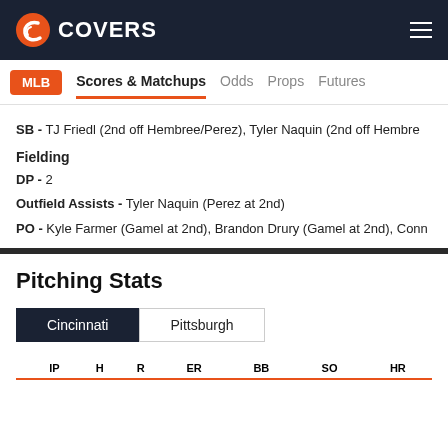COVERS
MLB  Scores & Matchups  Odds  Props  Futures
SB - TJ Friedl (2nd off Hembree/Perez), Tyler Naquin (2nd off Hembre...
Fielding
DP - 2
Outfield Assists - Tyler Naquin (Perez at 2nd)
PO - Kyle Farmer (Gamel at 2nd), Brandon Drury (Gamel at 2nd), Conn...
Pitching Stats
Cincinnati  Pittsburgh